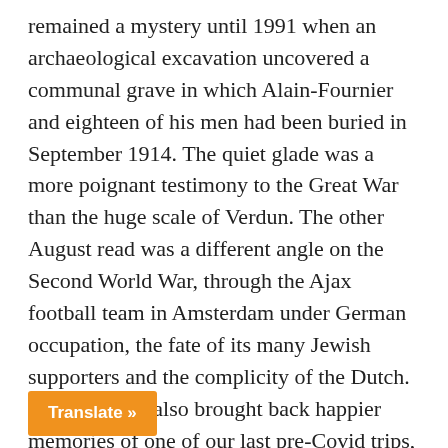remained a mystery until 1991 when an archaeological excavation uncovered a communal grave in which Alain-Fournier and eighteen of his men had been buried in September 1914. The quiet glade was a more poignant testimony to the Great War than the huge scale of Verdun. The other August read was a different angle on the Second World War, through the Ajax football team in Amsterdam under German occupation, the fate of its many Jewish supporters and the complicity of the Dutch. But that book also brought back happier memories of one of our last pre-Covid trips, which was to Amsterdam in May 2019, for the Rembrandt and Hockney/Van Gogh exhibitions (and a dramatic Ajax v Spurs match on TV).
We also returned to Senones last week, to lunch at the Bon Gîte. The restaurant and small hotel had changed hands around July 2019, with the great grand-daughter of the original founder taking over with her partner as chef. The food was traditional and rather un...aste. Senones was once the capital of the old